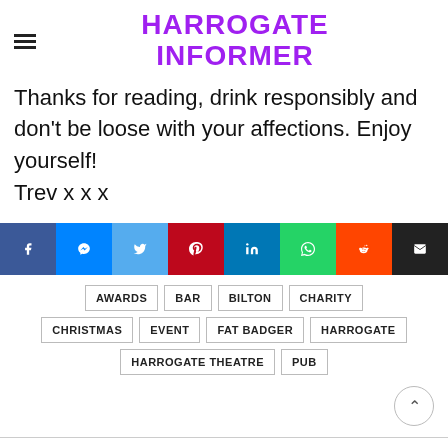HARROGATE INFORMER
Thanks for reading, drink responsibly and don't be loose with your affections. Enjoy yourself!
Trev x x x
[Figure (infographic): Social share buttons row: Facebook (blue), Messenger (blue), Twitter (light blue), Pinterest (red), LinkedIn (teal-blue), WhatsApp (teal), Reddit (orange), Email (black)]
AWARDS
BAR
BILTON
CHARITY
CHRISTMAS
EVENT
FAT BADGER
HARROGATE
HARROGATE THEATRE
PUB